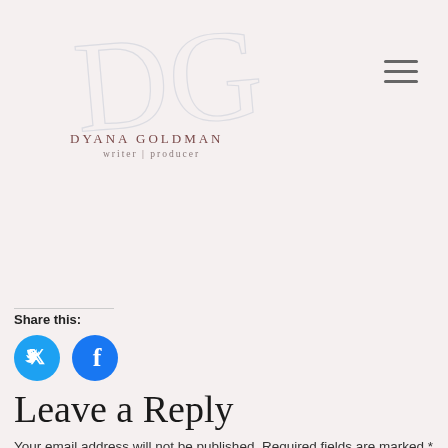DYANA GOLDMAN writer | producer
Share this:
[Figure (illustration): Twitter and Facebook circular social share buttons in blue]
Leave a Reply
Your email address will not be published. Required fields are marked *